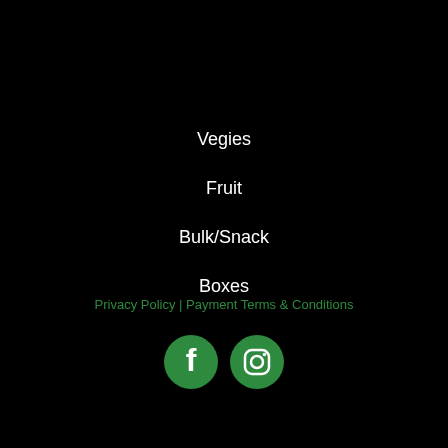Vegies
Fruit
Bulk/Snack
Boxes
Privacy Policy | Payment Terms & Conditions
[Figure (illustration): Facebook and Instagram social media icons in green circle style]